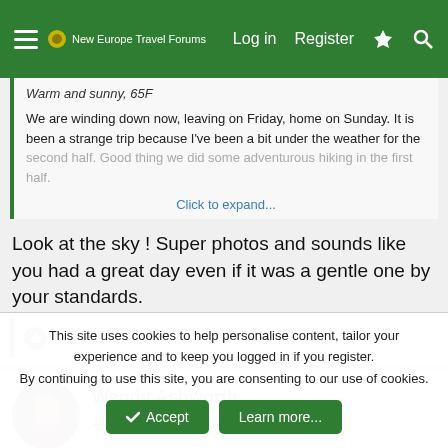New Europe Travel Forums — Log in | Register
Warm and sunny, 65F
We are winding down now, leaving on Friday, home on Sunday. It is been a strange trip because I've been a bit under the weather for the second half. Good thing we did some adventurous hiking in the first half.
Click to expand...
Look at the sky ! Super photos and sounds like you had a great day even if it was a gentle one by your standards.
Pauline
Wendy Ashworth
10+ Posts
This site uses cookies to help personalise content, tailor your experience and to keep you logged in if you register. By continuing to use this site, you are consenting to our use of cookies.